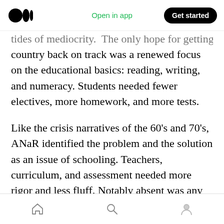Medium logo | Open in app | Get started
tides of mediocrity. The only hope for getting the country back on track was a renewed focus on the educational basics: reading, writing, and numeracy. Students needed fewer electives, more homework, and more tests.
Like the crisis narratives of the 60’s and 70’s, ANaR identified the problem and the solution as an issue of schooling. Teachers, curriculum, and assessment needed more rigor and less fluff. Notably absent was any discussion of the larger social, political, and economic factors that schools operate within and through.
Home | Search | Profile